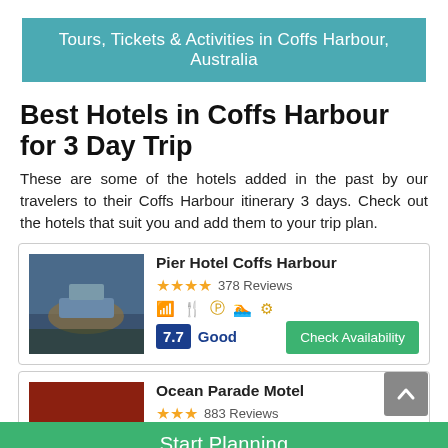Tours, Tickets & Activities in Coffs Harbour, Australia
Best Hotels in Coffs Harbour for 3 Day Trip
These are some of the hotels added in the past by our travelers to their Coffs Harbour itinerary 3 days. Check out the hotels that suit you and add them to your trip plan.
Pier Hotel Coffs Harbour
★★★★ 378 Reviews
7.7 Good
Ocean Parade Motel
★★★ 883 Reviews
Start Planning